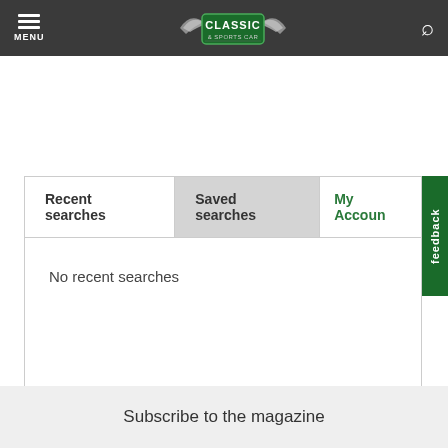MENU | CLASSIC & SPORTS CAR
Recent searches
Saved searches
My Account
No recent searches
feedback
Subscribe to the magazine